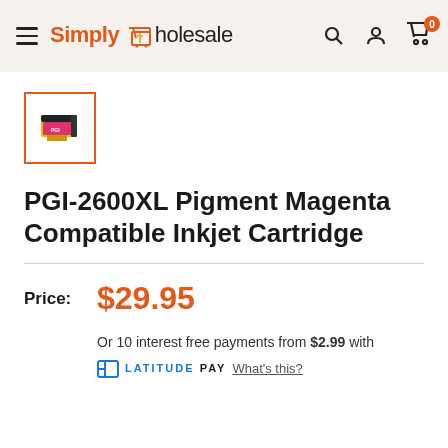Simply Wholesale — header with hamburger menu, search, account, and cart (0 items)
[Figure (photo): Thumbnail image of a magenta inkjet cartridge inside an orange-bordered selection box]
PGI-2600XL Pigment Magenta Compatible Inkjet Cartridge
Price: $29.95
Or 10 interest free payments from $2.99 with LATITUDE PAY What's this?